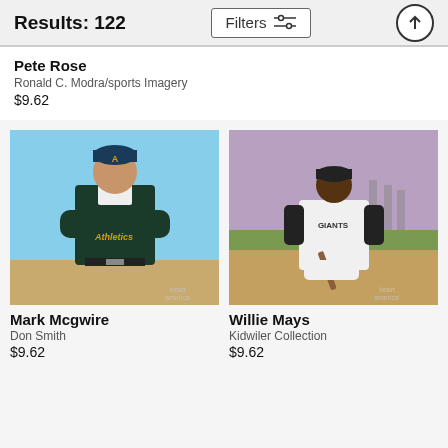Results: 122
Pete Rose
Ronald C. Modra/sports Imagery
$9.62
[Figure (photo): Mark McGwire in Oakland Athletics uniform with arms crossed, smiling, blue sky background]
[Figure (photo): Willie Mays in San Francisco Giants uniform crouching with a bat on a baseball field]
Mark Mcgwire
Don Smith
$9.62
Willie Mays
Kidwiler Collection
$9.62